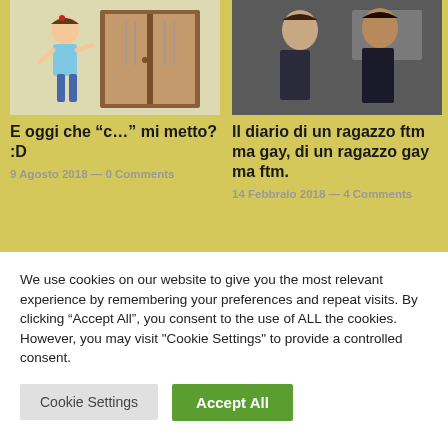[Figure (illustration): Cartoon illustration of a child looking at a wardrobe with clothes/hangers]
[Figure (photo): Photo of two young men facing each other]
E oggi che “c…” mi metto? :D
9 Agosto 2018 — 0 Comments
Il diario di un ragazzo ftm ma gay, di un ragazzo gay ma ftm.
14 Febbraio 2018 — 4 Comments
We use cookies on our website to give you the most relevant experience by remembering your preferences and repeat visits. By clicking “Accept All”, you consent to the use of ALL the cookies. However, you may visit "Cookie Settings" to provide a controlled consent.
Cookie Settings
Accept All